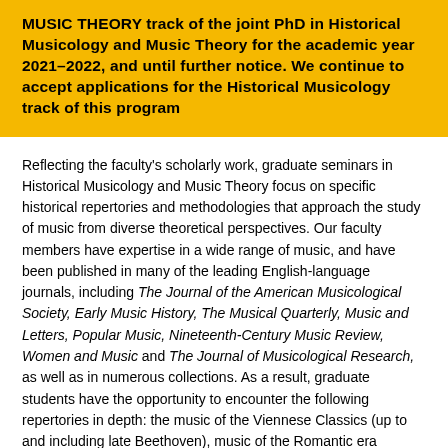MUSIC THEORY track of the joint PhD in Historical Musicology and Music Theory for the academic year 2021–2022, and until further notice. We continue to accept applications for the Historical Musicology track of this program
Reflecting the faculty's scholarly work, graduate seminars in Historical Musicology and Music Theory focus on specific historical repertories and methodologies that approach the study of music from diverse theoretical perspectives. Our faculty members have expertise in a wide range of music, and have been published in many of the leading English-language journals, including The Journal of the American Musicological Society, Early Music History, The Musical Quarterly, Music and Letters, Popular Music, Nineteenth-Century Music Review, Women and Music and The Journal of Musicological Research, as well as in numerous collections. As a result, graduate students have the opportunity to encounter the following repertories in depth: the music of the Viennese Classics (up to and including late Beethoven), music of the Romantic era